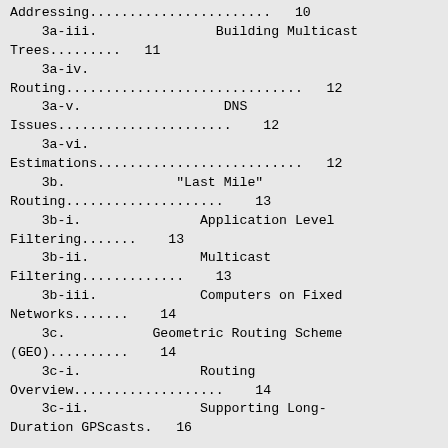Addressing....................... 10
    3a-iii.                Building Multicast Trees.......... 11
    3a-iv.
Routing.............................. 12
    3a-v.                  DNS Issues...................... 12
    3a-vi.
Estimations.......................... 12
    3b.              "Last Mile" Routing.................. 13
    3b-i.               Application Level Filtering....... 13
    3b-ii.              Multicast Filtering............... 13
    3b-iii.             Computers on Fixed Networks....... 14
    3c.           Geometric Routing Scheme (GEO).......... 14
    3c-i.               Routing Overview.................. 14
    3c-ii.              Supporting Long-Duration GPScasts. 16